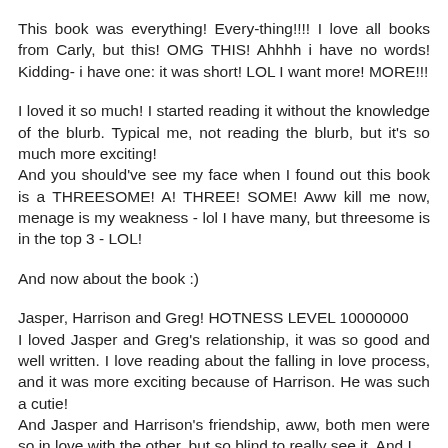This book was everything! Every-thing!!!! I love all books from Carly, but this! OMG THIS! Ahhhh i have no words! Kidding- i have one: it was short! LOL I want more! MORE!!!
I loved it so much! I started reading it without the knowledge of the blurb. Typical me, not reading the blurb, but it's so much more exciting!
And you should've see my face when I found out this book is a THREESOME! A! THREE! SOME! Aww kill me now, menage is my weakness - lol I have many, but threesome is in the top 3 - LOL!
And now about the book :)
Jasper, Harrison and Greg! HOTNESS LEVEL 10000000
I loved Jasper and Greg's relationship, it was so good and well written. I love reading about the falling in love process, and it was more exciting because of Harrison. He was such a cutie!
And Jasper and Harrison's friendship, aww, both men were so in love with the other, but so blind to really see it. And I